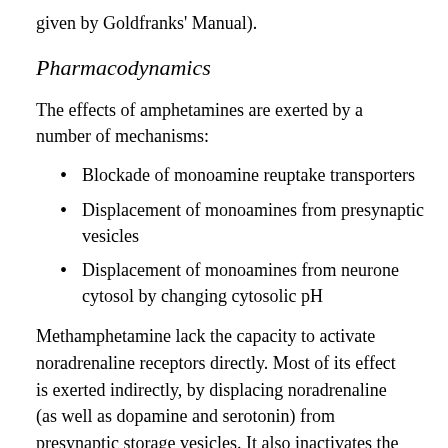given by Goldfranks' Manual).
Pharmacodynamics
The effects of amphetamines are exerted by a number of mechanisms:
Blockade of monoamine reuptake transporters
Displacement of monoamines from presynaptic vesicles
Displacement of monoamines from neurone cytosol by changing cytosolic pH
Methamphetamine lack the capacity to activate noradrenaline receptors directly. Most of its effect is exerted indirectly, by displacing noradrenaline (as well as dopamine and serotonin) from presynaptic storage vesicles. It also inactivates the catecholamine reuptake transporters